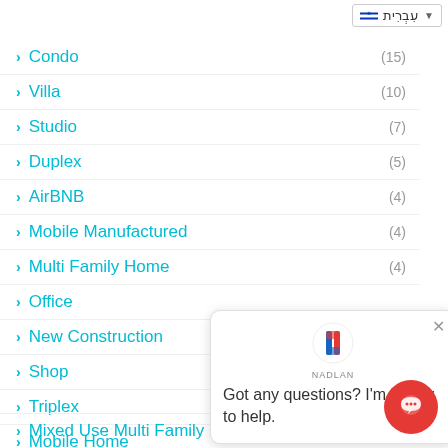Condo (15)
Villa (10)
Studio (7)
Duplex (5)
AirBNB (4)
Mobile Manufactured (4)
Multi Family Home (4)
Office
New Construction
Shop
Triplex
Mobile Home
Mixed Use Multi Family (2)
[Figure (screenshot): Chat popup from Nadlan with message: Got any questions? I'm happy to help.]
[Figure (other): Red circular chat button]